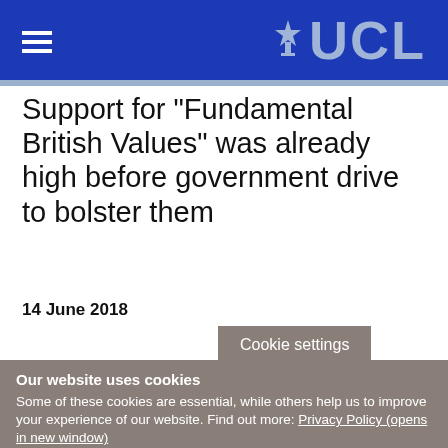UCL
Support for "Fundamental British Values" was already high before government drive to bolster them
14 June 2018
Cookie settings
Our website uses cookies
Some of these cookies are essential, while others help us to improve your experience of our website. Find out more: Privacy Policy (opens in new window)